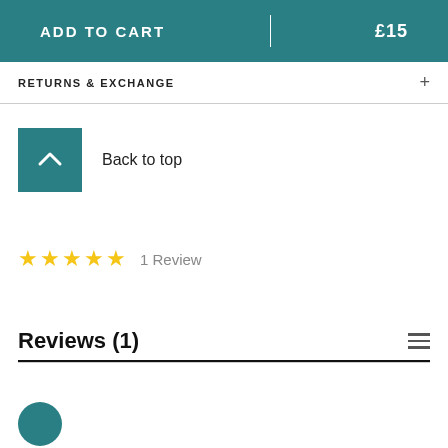ADD TO CART  |  £15
RETURNS & EXCHANGE
Back to top
★★★★★  1 Review
Reviews (1)
[Figure (illustration): Teal circular avatar partially visible at bottom of page]